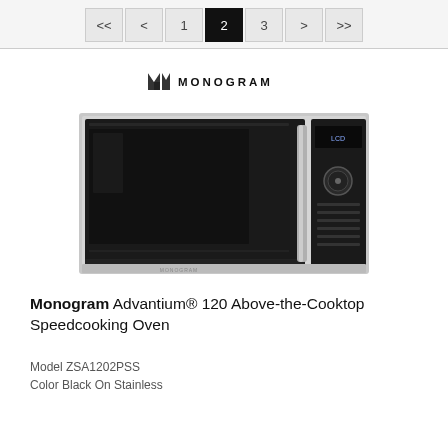<< < 1 2 3 > >>
[Figure (logo): Monogram brand logo with stylized M icon and MONOGRAM text]
[Figure (photo): Monogram Advantium 120 Above-the-Cooktop Speedcooking Oven in Black on Stainless finish, front view showing large black glass door and control panel on right side]
Monogram Advantium® 120 Above-the-Cooktop Speedcooking Oven
Model ZSA1202PSS
Color Black On Stainless